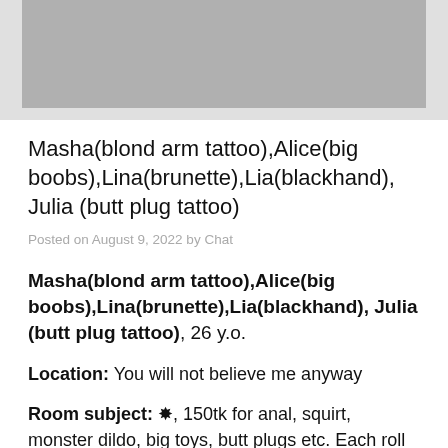[Figure (photo): Gray rectangle placeholder image at top of page]
Masha(blond arm tattoo),Alice(big boobs),Lina(brunette),Lia(blackhand), Julia (butt plug tattoo)
Posted on August 9, 2022 by Chat
Masha(blond arm tattoo),Alice(big boobs),Lina(brunette),Lia(blackhand), Julia (butt plug tattoo), 26 y.o.
Location: You will not believe me anyway
Room subject: ❊, 150tk for anal, squirt, monster dildo, big toys, butt plugs etc. Each roll wins!❊